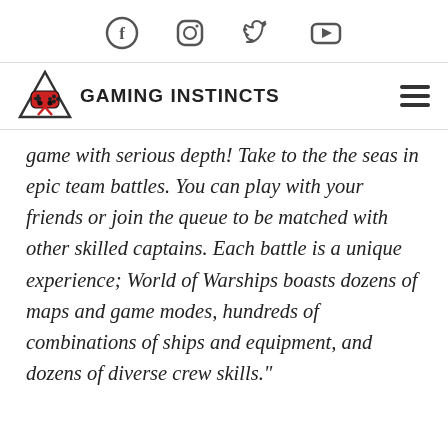[Social icons: Facebook, Instagram, Twitter, YouTube]
[Figure (logo): Gaming Instincts logo: game controller in red and black triangle, with text GAMING INSTINCTS in bold]
game with serious depth! Take to the the seas in epic team battles. You can play with your friends or join the queue to be matched with other skilled captains. Each battle is a unique experience; World of Warships boasts dozens of maps and game modes, hundreds of combinations of ships and equipment, and dozens of diverse crew skills."